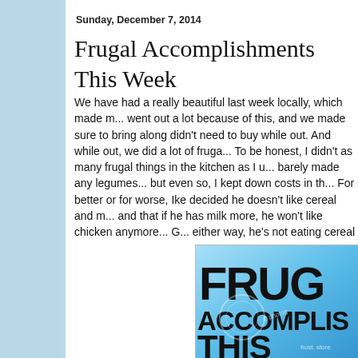Sunday, December 7, 2014
Frugal Accomplishments This Week
We have had a really beautiful last week locally, which made m... went out a lot because of this, and we made sure to bring along didn't need to buy while out. And while out, we did a lot of fruga... To be honest, I didn't as many frugal things in the kitchen as I u... barely made any legumes... but even so, I kept down costs in th... For better or for worse, Ike decided he doesn't like cereal and m... and that if he has milk more, he won't like chicken anymore... G... either way, he's not eating cereal and milk for breakfast, which n... anymore, which is pushing me to actually make healthier, cheap... for Ike anyhow.
[Figure (photo): Partial image of a decorative graphic showing the words FRUGAL ACCOMPLISHMENTS with a blue gradient background, partially cut off on the right side. Watermark text visible.]